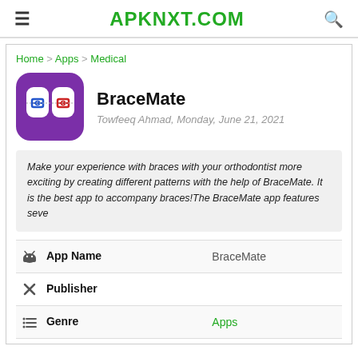APKNXT.COM
Home > Apps > Medical
BraceMate
Towfeeq Ahmad, Monday, June 21, 2021
Make your experience with braces with your orthodontist more exciting by creating different patterns with the help of BraceMate. It is the best app to accompany braces!The BraceMate app features seve
| Field | Value |
| --- | --- |
| App Name | BraceMate |
| Publisher |  |
| Genre | Apps |